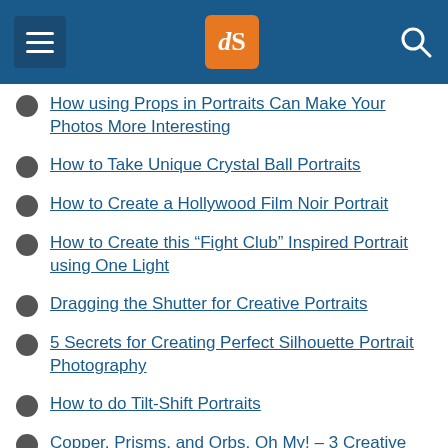dPS navigation header
How using Props in Portraits Can Make Your Photos More Interesting
How to Take Unique Crystal Ball Portraits
How to Create a Hollywood Film Noir Portrait
How to Create this “Fight Club” Inspired Portrait using One Light
Dragging the Shutter for Creative Portraits
5 Secrets for Creating Perfect Silhouette Portrait Photography
How to do Tilt-Shift Portraits
Copper, Prisms, and Orbs, Oh My! – 3 Creative Techniques for People Photography